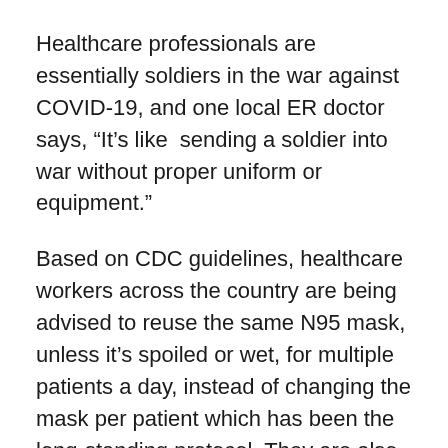Healthcare professionals are essentially soldiers in the war against COVID-19, and one local ER doctor says, “It’s like  sending a soldier into war without proper uniform or equipment.”
Based on CDC guidelines, healthcare workers across the country are being advised to reuse the same N95 mask, unless it’s spoiled or wet, for multiple patients a day, instead of changing the mask per patient which has been the long-standing protocol. They are also being told to be very careful when removing the mask to prevent self-contamination. The CDC even suggested at one point to use a bandana or scarf, if needed.
N95 respirators and surgical masks are in short supply in most states, and there’s no clear indication when